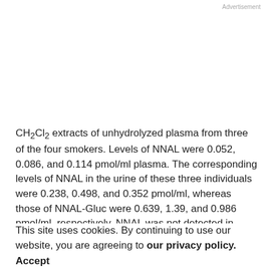Advertisement
CH₂Cl₂ extracts of unhydrolyzed plasma from three of the four smokers. Levels of NNAL were 0.052, 0.086, and 0.114 pmol/ml plasma. The corresponding levels of NNAL in the urine of these three individuals were 0.238, 0.498, and 0.352 pmol/ml, whereas those of NNAL-Gluc were 0.639, 1.39, and 0.986 pmol/ml, respectively. NNAL was not detected in CH₂Cl₂ extracts of RBCs, or in the base or acid hydrolysates of RBC or plasma.
This site uses cookies. By continuing to use our website, you are agreeing to our privacy policy. Accept
The renal clearance of NNAL in the three smokers for whom blood and urine data were available was 9.8 ± 8.0 ml/min. Assuming that NNAL was not bound to plasma